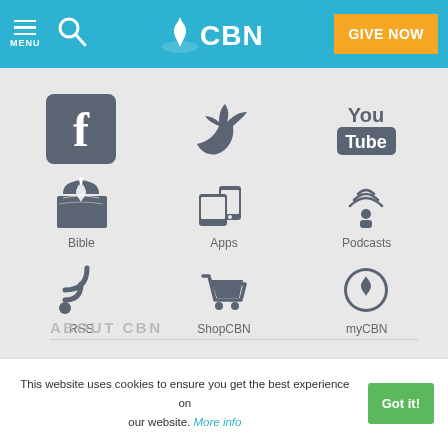[Figure (screenshot): CBN website header with menu icon, search icon, CBN logo, and orange GIVE NOW button on blue background]
[Figure (infographic): Social media and app icons grid: Facebook, Twitter, YouTube, Bible, Apps, Podcasts, RSS, ShopCBN, myCBN, Email]
ABOUT CBN
This website uses cookies to ensure you get the best experience on our website. More info